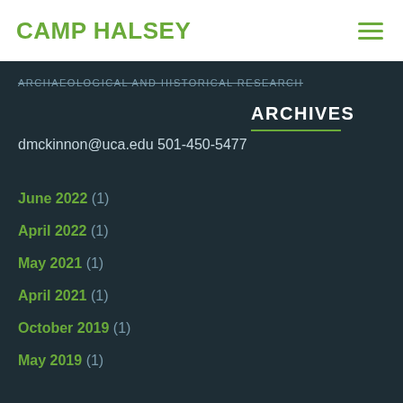CAMP HALSEY
ARCHAEOLOGICAL AND HISTORICAL RESEARCH
dmckinnon@uca.edu
501-450-5477
ARCHIVES
June 2022 (1)
April 2022 (1)
May 2021 (1)
April 2021 (1)
October 2019 (1)
May 2019 (1)